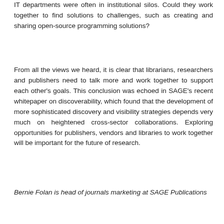IT departments were often in institutional silos. Could they work together to find solutions to challenges, such as creating and sharing open-source programming solutions?
From all the views we heard, it is clear that librarians, researchers and publishers need to talk more and work together to support each other's goals. This conclusion was echoed in SAGE's recent whitepaper on discoverability, which found that the development of more sophisticated discovery and visibility strategies depends very much on heightened cross-sector collaborations. Exploring opportunities for publishers, vendors and libraries to work together will be important for the future of research.
Bernie Folan is head of journals marketing at SAGE Publications